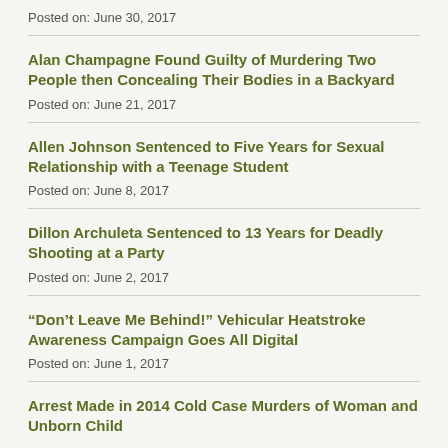Posted on: June 30, 2017
Alan Champagne Found Guilty of Murdering Two People then Concealing Their Bodies in a Backyard
Posted on: June 21, 2017
Allen Johnson Sentenced to Five Years for Sexual Relationship with a Teenage Student
Posted on: June 8, 2017
Dillon Archuleta Sentenced to 13 Years for Deadly Shooting at a Party
Posted on: June 2, 2017
“Don’t Leave Me Behind!” Vehicular Heatstroke Awareness Campaign Goes All Digital
Posted on: June 1, 2017
Arrest Made in 2014 Cold Case Murders of Woman and Unborn Child